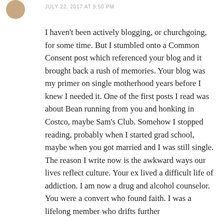JULY 22, 2017 AT 9:50 PM
I haven't been actively blogging, or churchgoing, for some time. But I stumbled onto a Common Consent post which referenced your blog and it brought back a rush of memories. Your blog was my primer on single motherhood years before I knew I needed it. One of the first posts I read was about Bean running from you and honking in Costco, maybe Sam's Club. Somehow I stopped reading, probably when I started grad school, maybe when you got married and I was still single. The reason I write now is the awkward ways our lives reflect culture. Your ex lived a difficult life of addiction. I am now a drug and alcohol counselor. You were a convert who found faith. I was a lifelong member who drifts further